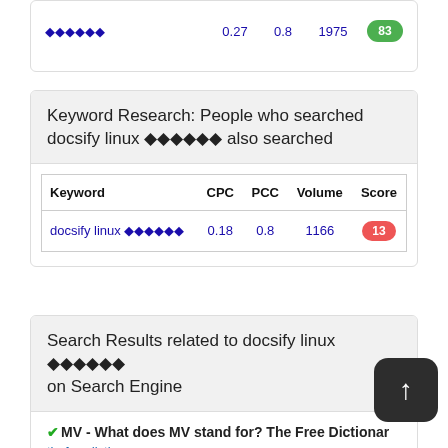| Keyword | CPC | PCC | Volume | Score |
| --- | --- | --- | --- | --- |
| ◆◆◆◆◆◆ | 0.27 | 0.8 | 1975 | 83 |
Keyword Research: People who searched docsify linux ◆◆◆◆◆◆ also searched
| Keyword | CPC | PCC | Volume | Score |
| --- | --- | --- | --- | --- |
| docsify linux ◆◆◆◆◆◆ | 0.18 | 0.8 | 1166 | 13 |
Search Results related to docsify linux ◆◆◆◆◆◆ on Search Engine
✔MV - What does MV stand for? The Free Dictionary
thefreedictionary.com
https://acronyms.thefreedictionary.com/MV